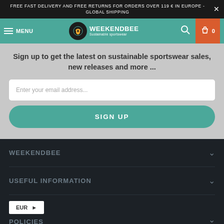FREE FAST DELIVERY AND FREE RETURNS FOR ORDERS OVER 119 € IN EUROPE - GLOBAL SHIPPING
[Figure (screenshot): WeekendBee navigation bar with hamburger menu, bee logo, search icon, and cart button showing 0]
Sign up to get the latest on sustainable sportswear sales, new releases and more ...
Enter your email address...
SIGN UP
WEEKENDBEE
USEFUL INFORMATION
EUR
POLICIES